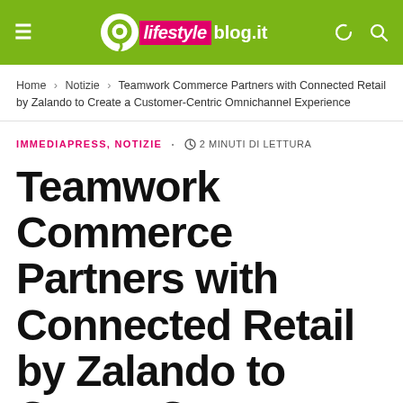lifestyleblog.it
Home › Notizie › Teamwork Commerce Partners with Connected Retail by Zalando to Create a Customer-Centric Omnichannel Experience
IMMEDIAPRESS, NOTIZIE · 2 MINUTI DI LETTURA
Teamwork Commerce Partners with Connected Retail by Zalando to Create C...